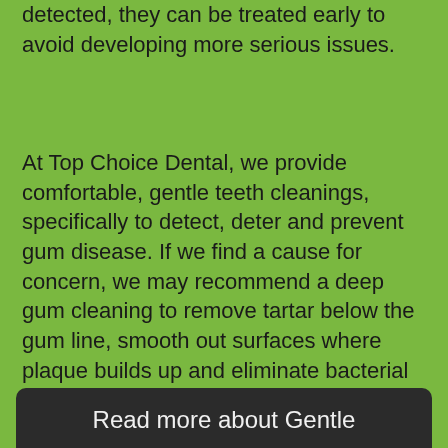detected, they can be treated early to avoid developing more serious issues.
At Top Choice Dental, we provide comfortable, gentle teeth cleanings, specifically to detect, deter and prevent gum disease. If we find a cause for concern, we may recommend a deep gum cleaning to remove tartar below the gum line, smooth out surfaces where plaque builds up and eliminate bacterial infection.
Read more about Gentle